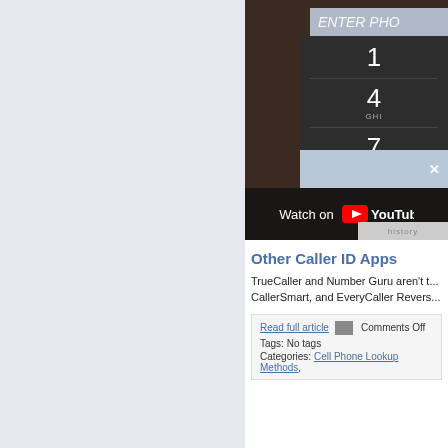[Figure (screenshot): Screenshot of a smartphone phone dialer app showing a numeric keypad with keys 1, 4 (GHI), 7 (PQRS), and a backspace key, with 'ENTER PHO...' input bar at top. A 'Watch on YouTube' overlay appears at the bottom of the video thumbnail.]
Other Caller ID Apps
TrueCaller and Number Guru aren't t... CallerSmart, and EveryCaller Revers...
Read full article  Comments Off
Tags: No tags
Categories: Cell Phone Lookup Methods,